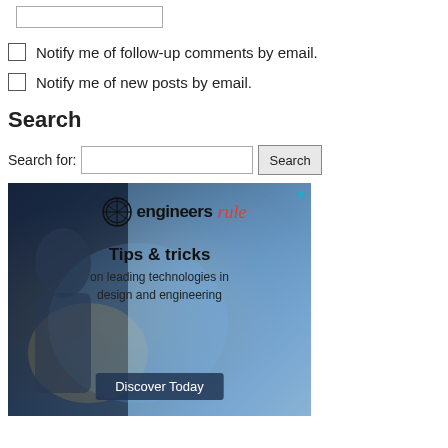Notify me of follow-up comments by email.
Notify me of new posts by email.
Search
Search for:
[Figure (screenshot): Advertisement banner for engineersrule.com showing a futuristic engineering/technology themed image with text 'Tips & tricks on leading technologies in design and engineering' and a 'Discover Today' button.]